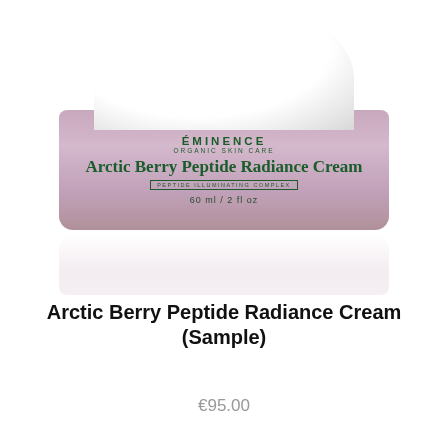[Figure (photo): Product photo of Éminence Organic Skin Care Arctic Berry Peptide Radiance Cream jar with white lid and pink-mauve label, 60 ml / 2 fl oz, with reflection below]
Arctic Berry Peptide Radiance Cream (Sample)
€95.00